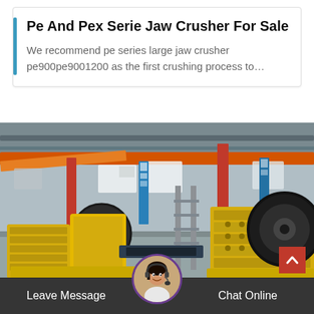Pe And Pex Serie Jaw Crusher For Sale
We recommend pe series large jaw crusher pe900pe9001200 as the first crushing process to…
[Figure (photo): Industrial warehouse interior showing two large yellow jaw crushers with orange overhead crane beams, blue banners, and industrial lighting]
Leave Message
Chat Online